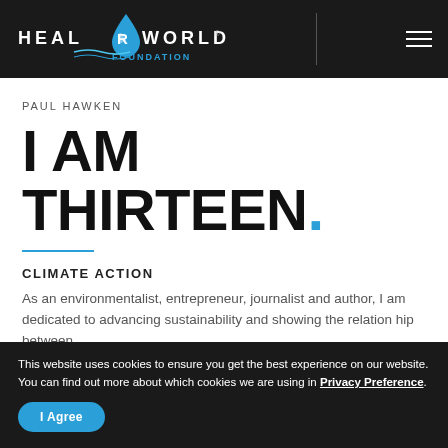[Figure (logo): Heal R World Foundation logo with water drop icon and text on dark background header bar]
PAUL HAWKEN
I AM THIRTEEN.
CLIMATE ACTION
As an environmentalist, entrepreneur, journalist and author, I am dedicated to advancing sustainability and showing the relation hip between...
This website uses cookies to ensure you get the best experience on our website.
You can find out more about which cookies we are using in Privacy Preference.